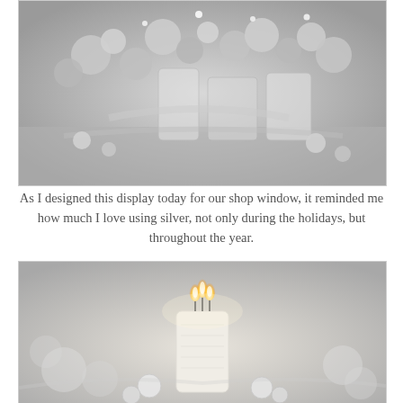[Figure (photo): Silver holiday display with ornaments, glass jars, ribbons, and decorative items arranged for a shop window. Monochromatic silver color scheme.]
As I designed this display today for our shop window, it reminded me how much I love using silver, not only during the holidays, but throughout the year.
[Figure (photo): A white pillar candle with multiple lit flames surrounded by silver and white ornaments and decorations in a soft, blurred background.]